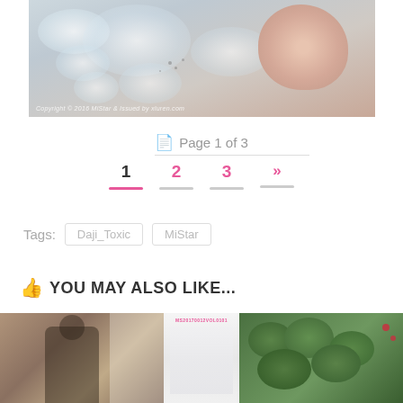[Figure (photo): Close-up photo of bath foam/bubbles with a pink/peach colored sponge or bath bomb, light blue-grey tones, with watermark text at bottom left]
Copyright 2016 MiStar & Issued by xluren.com
Page 1 of 3
1  2  3  »
Tags:  Daji_Toxic  MiStar
YOU MAY ALSO LIKE...
[Figure (photo): Photo of a person (partially visible) with dark hair against a light background]
[Figure (photo): Photo with text label MS20170012VOL0101 and white/light interior background]
[Figure (photo): Photo of dense green foliage/shrubs with red flowers visible]